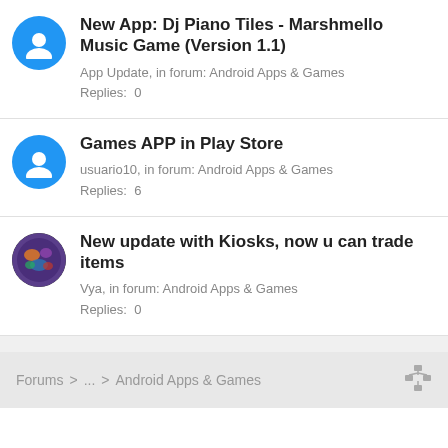New App: Dj Piano Tiles - Marshmello Music Game (Version 1.1)
App Update, in forum: Android Apps & Games
Replies: 0
Games APP in Play Store
usuario10, in forum: Android Apps & Games
Replies: 6
New update with Kiosks, now u can trade items
Vya, in forum: Android Apps & Games
Replies: 0
Forums  >  ...  >  Android Apps & Games